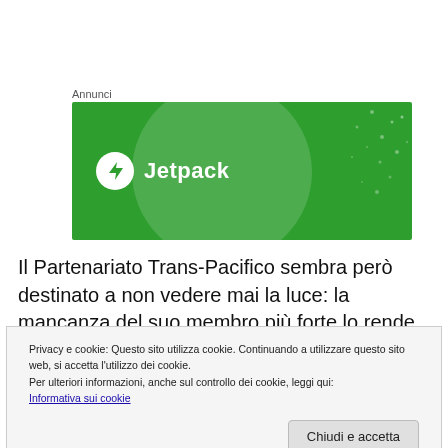Annunci
[Figure (illustration): Jetpack advertisement banner with green background, white logo circle with lightning bolt, and Jetpack brand name in white text]
Il Partenariato Trans-Pacifico sembra però destinato a non vedere mai la luce: la mancanza del suo membro più forte lo rende infatti inadeguato, nella forma in cui è stato concordato, ad applicarsi alle restanti nazioni. Per questo
Privacy e cookie: Questo sito utilizza cookie. Continuando a utilizzare questo sito web, si accetta l'utilizzo dei cookie.
Per ulteriori informazioni, anche sul controllo dei cookie, leggi qui:
Informativa sui cookie
non ha ormai più senso.